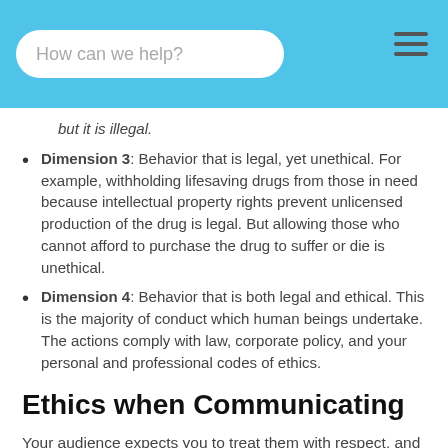How can we help?
but it is illegal.
Dimension 3: Behavior that is legal, yet unethical. For example, withholding lifesaving drugs from those in need because intellectual property rights prevent unlicensed production of the drug is legal. But allowing those who cannot afford to purchase the drug to suffer or die is unethical.
Dimension 4: Behavior that is both legal and ethical. This is the majority of conduct which human beings undertake. The actions comply with law, corporate policy, and your personal and professional codes of ethics.
Ethics when Communicating
Your audience expects you to treat them with respect, and deliberately manipulating them by means of fear, guilt, duty, or a relationship is unethical.